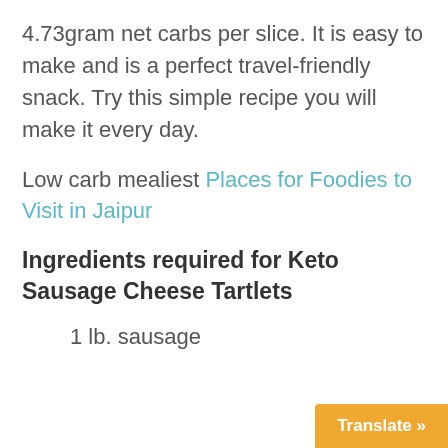4.73gram net carbs per slice. It is easy to make and is a perfect travel-friendly snack. Try this simple recipe you will make it every day.
Low carb mealiest Places for Foodies to Visit in Jaipur
Ingredients required for Keto Sausage Cheese Tartlets
1 lb. sausage
Translate »